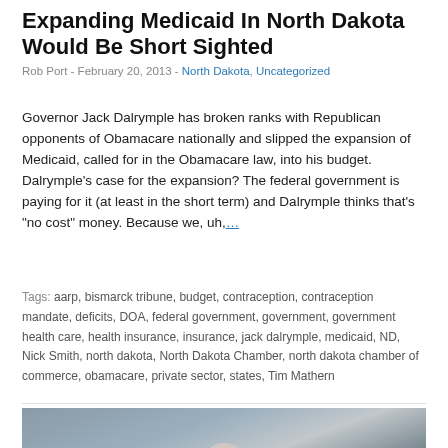Expanding Medicaid In North Dakota Would Be Short Sighted
Rob Port - February 20, 2013 - North Dakota, Uncategorized
Governor Jack Dalrymple has broken ranks with Republican opponents of Obamacare nationally and slipped the expansion of Medicaid, called for in the Obamacare law, into his budget. Dalrymple's case for the expansion? The federal government is paying for it (at least in the short term) and Dalrymple thinks that's "no cost" money. Because we, uh,…
Tags: aarp, bismarck tribune, budget, contraception, contraception mandate, deficits, DOA, federal government, government, government health care, health insurance, insurance, jack dalrymple, medicaid, ND, Nick Smith, north dakota, North Dakota Chamber, north dakota chamber of commerce, obamacare, private sector, states, Tim Mathern
[Figure (photo): Photo of a bald man in a dark suit speaking at a podium or event, cropped to show head and upper body, with a blurred background.]